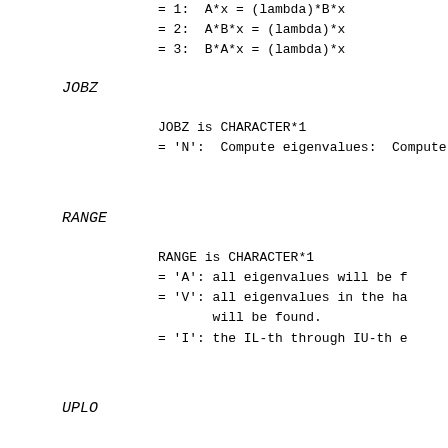= 1:  A*x = (lambda)*B*x
= 2:  A*B*x = (lambda)*x
= 3:  B*A*x = (lambda)*x
JOBZ
JOBZ is CHARACTER*1
= 'N':  Compute eigenvalues only
= 'V':  Compute eigenvalues and
RANGE
RANGE is CHARACTER*1
= 'A': all eigenvalues will be f
= 'V': all eigenvalues in the ha
       will be found.
= 'I': the IL-th through IU-th e
UPLO